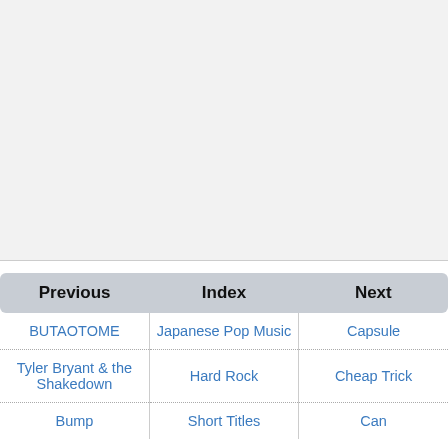[Figure (other): Large empty light grey area at top of page, above a navigation table]
| Previous | Index | Next |
| --- | --- | --- |
| BUTAOTOME | Japanese Pop Music | Capsule |
| Tyler Bryant & the Shakedown | Hard Rock | Cheap Trick |
| Bump | Short Titles | Can |